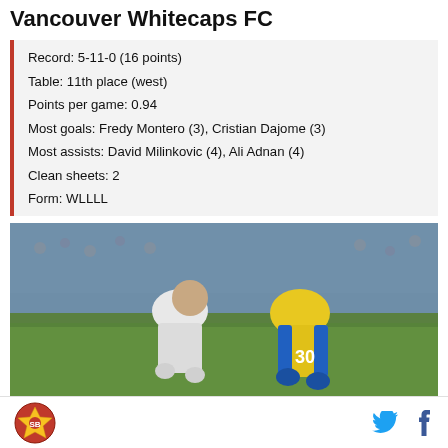Vancouver Whitecaps FC
Record: 5-11-0 (16 points)
Table: 11th place (west)
Points per game: 0.94
Most goals: Fredy Montero (3), Cristian Dajome (3)
Most assists: David Milinkovic (4), Ali Adnan (4)
Clean sheets: 2
Form: WLLLL
[Figure (photo): Two soccer players bending over on a grass field — one in a white jersey (Vancouver Whitecaps) and one in a yellow jersey with blue accents]
SB Nation logo | Twitter icon | Facebook icon